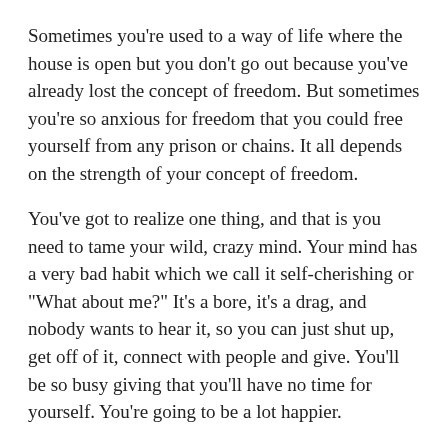Sometimes you're used to a way of life where the house is open but you don't go out because you've already lost the concept of freedom. But sometimes you're so anxious for freedom that you could free yourself from any prison or chains. It all depends on the strength of your concept of freedom.
You've got to realize one thing, and that is you need to tame your wild, crazy mind. Your mind has a very bad habit which we call it self-cherishing or "What about me?" It's a bore, it's a drag, and nobody wants to hear it, so you can just shut up, get off of it, connect with people and give. You'll be so busy giving that you'll have no time for yourself. You're going to be a lot happier.
This is the time for awakening for humans on the planet. This is the time to wake up out of the madness, because history of humanity is basically the history of insanity.